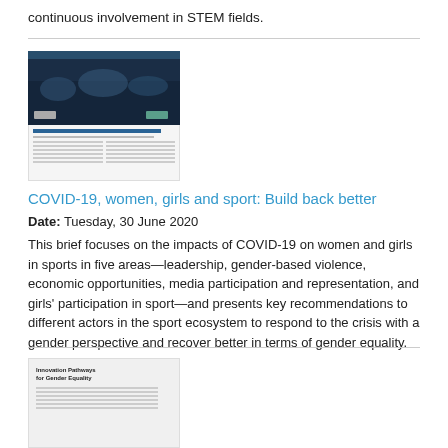continuous involvement in STEM fields.
[Figure (illustration): Thumbnail of a report cover showing a dark blue image of people at a sports event with logos, and a text preview below it.]
COVID-19, women, girls and sport: Build back better
Date: Tuesday, 30 June 2020
This brief focuses on the impacts of COVID-19 on women and girls in sports in five areas—leadership, gender-based violence, economic opportunities, media participation and representation, and girls' participation in sport—and presents key recommendations to different actors in the sport ecosystem to respond to the crisis with a gender perspective and recover better in terms of gender equality.
[Figure (illustration): Thumbnail of a report titled 'Innovation Pathways for Gender Equality' with text lines below the title.]